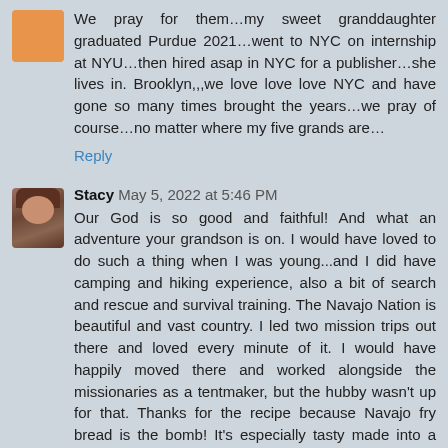We pray for them…my sweet granddaughter graduated Purdue 2021…went to NYC on internship at NYU…then hired asap in NYC for a publisher…she lives in. Brooklyn,,,we love love love NYC and have gone so many times brought the years…we pray of course…no matter where my five grands are…
Reply
Stacy May 5, 2022 at 5:46 PM
Our God is so good and faithful! And what an adventure your grandson is on. I would have loved to do such a thing when I was young...and I did have camping and hiking experience, also a bit of search and rescue and survival training. The Navajo Nation is beautiful and vast country. I led two mission trips out there and loved every minute of it. I would have happily moved there and worked alongside the missionaries as a tentmaker, but the hubby wasn't up for that. Thanks for the recipe because Navajo fry bread is the bomb! It's especially tasty made into a Navajo taco...fry bread piled sky high with meat, beans, cheese, lettuce, tomatoes, chilies, salsa, sour cream and whatever else